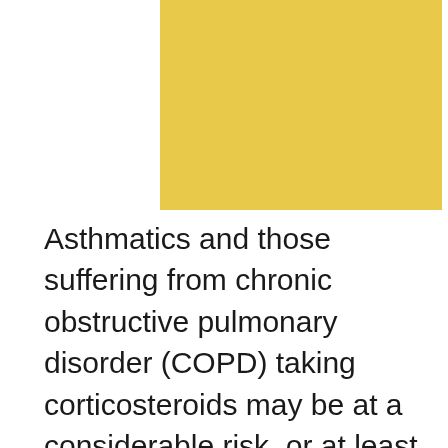[Figure (other): Gold/yellow rectangular decorative block spanning the upper portion of the page]
Asthmatics and those suffering from chronic obstructive pulmonary disorder (COPD) taking corticosteroids may be at a considerable risk, or at least the following article suggests so. Investigators from the Jewish General Hospital's Lady Davis Institute for Medical Research (LDI) in Montreal suggest that inhaling corticosteroids can elevate chances of being diagnosed with type 2